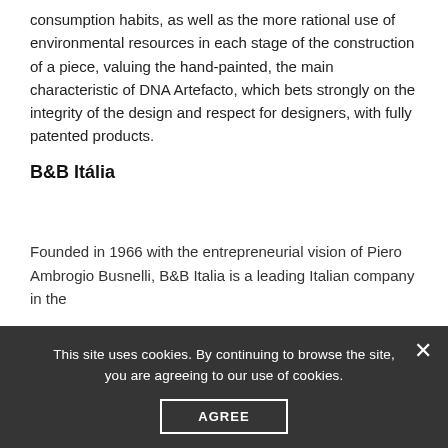consumption habits, as well as the more rational use of environmental resources in each stage of the construction of a piece, valuing the hand-painted, the main characteristic of DNA Artefacto, which bets strongly on the integrity of the design and respect for designers, with fully patented products.
B&B Itália
Founded in 1966 with the entrepreneurial vision of Piero Ambrogio Busnelli, B&B Italia is a leading Italian company in the
This site uses cookies. By continuing to browse the site, you are agreeing to our use of cookies.